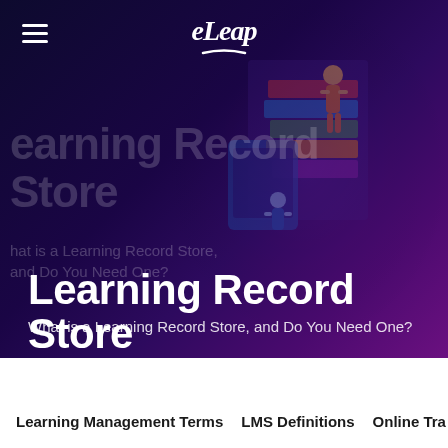[Figure (screenshot): eLeap LMS website hero banner with dark purple/indigo gradient background, isometric illustration of people with books/digital devices on the right, hamburger menu icon top-left, eLeap logo centered at top]
Learning Record Store
What is a Learning Record Store, and Do You Need One?
Learning Management Terms   LMS Definitions   Online Tra